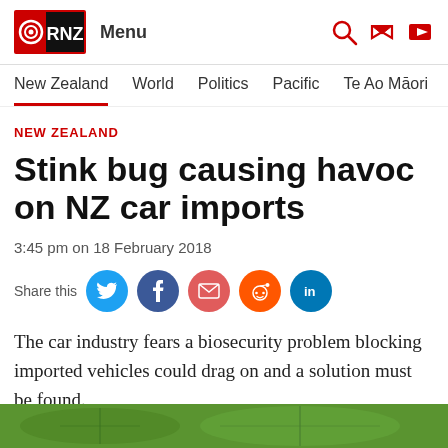RNZ Menu
New Zealand  World  Politics  Pacific  Te Ao Māori  S
NEW ZEALAND
Stink bug causing havoc on NZ car imports
3:45 pm on 18 February 2018
Share this
The car industry fears a biosecurity problem blocking imported vehicles could drag on and a solution must be found.
[Figure (photo): Green leaf photo strip at bottom of page]